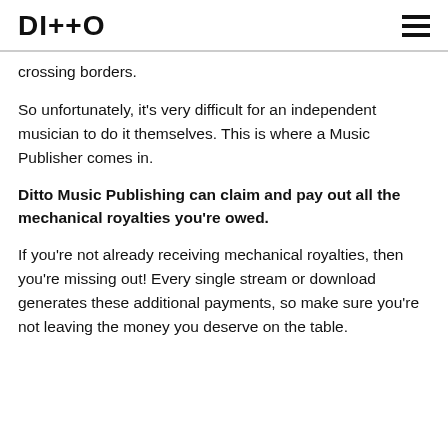DITTO
crossing borders.
So unfortunately, it's very difficult for an independent musician to do it themselves. This is where a Music Publisher comes in.
Ditto Music Publishing can claim and pay out all the mechanical royalties you're owed.
If you're not already receiving mechanical royalties, then you're missing out! Every single stream or download generates these additional payments, so make sure you're not leaving the money you deserve on the table.